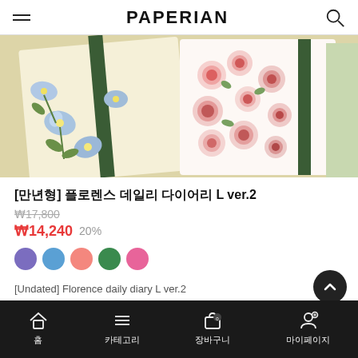PAPERIAN
[Figure (photo): Product photo showing floral-patterned diary covers: left cover has blue flowers on cream background with green ribbon closure, right cover has pink roses on white background with green ribbon closure, third partially visible cover has olive/green botanical print.]
[만년형] 플로렌스 데일리 다이어리 L ver.2
₩17,800 (strikethrough original price)
₩14,240 20%
[Undated] Florence daily diary L ver.2
홈  카테고리  장바구니  마이페이지